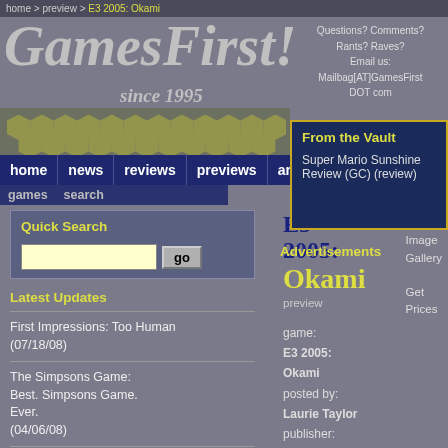home > preview > E3 2005: Okami
GamesFirst!
since 1995
Questions? Comments? Rants? Raves? Email us: Mailbag[AT]GamesFirst DOT com
From the Vault
Super Mario Sunshine Review (GC) (review)
Advertisements
Quick Search
Latest Updates
First Impressions: Too Human (07/18/08)
The Simpsons Game: Best. Simpsons Game. Ever. (04/06/08)
Get a Little Gore from Your PSP with God of
E3 2005: Okami
preview
View Image Gallery
Get Prices
game: E3 2005: Okami
posted by: Laurie Taylor
publisher: Capcom
developer: Capcom / Clover Studios
platform: PS2
keywords: